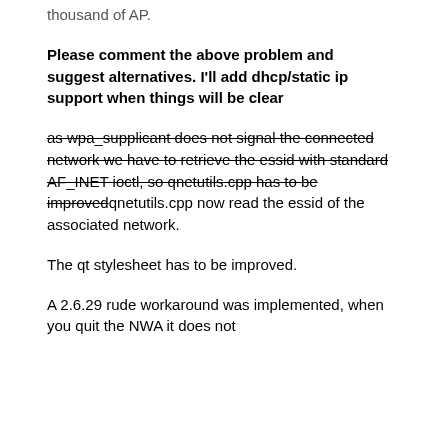thousand of AP.
Please comment the above problem and suggest alternatives. I'll add dhcp/static ip support when things will be clear
as wpa_supplicant does not signal the connected network we have to retrieve the essid with standard AF_INET ioctl, so qnetutils.cpp has to be improvedqnetutils.cpp now read the essid of the associated network.
The qt stylesheet has to be improved.
A 2.6.29 rude workaround was implemented, when you quit the NWA it does not